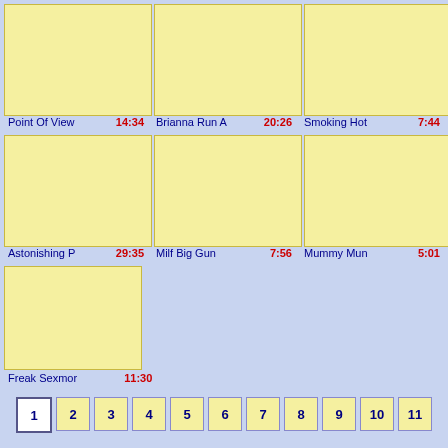[Figure (photo): Video thumbnail - Point Of View]
[Figure (photo): Video thumbnail - Brianna Run A]
[Figure (photo): Video thumbnail - Smoking Hot]
Point Of View  14:34   Brianna Run A  20:26   Smoking Hot  7:44
[Figure (photo): Video thumbnail - Astonishing P]
[Figure (photo): Video thumbnail - Milf Big Gun]
[Figure (photo): Video thumbnail - Mummy Mun]
Astonishing P  29:35   Milf Big Gun  7:56   Mummy Mun  5:01
[Figure (photo): Video thumbnail - Freak Sexmor]
Freak Sexmor  11:30
1  2  3  4  5  6  7  8  9  10  11